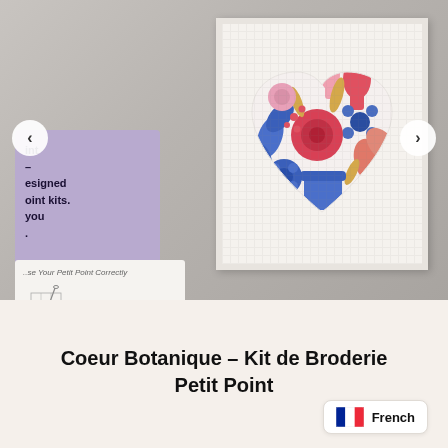[Figure (photo): Photo of a needlepoint petit point kit showing a botanical heart design on canvas in a white frame, with a purple instruction card and a white illustrated guide card on the left, navigation arrows on either side]
Coeur Botanique - Kit de Broderie Petit Point
French